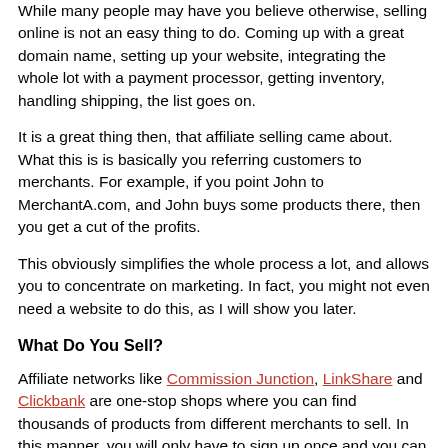While many people may have you believe otherwise, selling online is not an easy thing to do. Coming up with a great domain name, setting up your website, integrating the whole lot with a payment processor, getting inventory, handling shipping, the list goes on.
It is a great thing then, that affiliate selling came about. What this is is basically you referring customers to merchants. For example, if you point John to MerchantA.com, and John buys some products there, then you get a cut of the profits.
This obviously simplifies the whole process a lot, and allows you to concentrate on marketing. In fact, you might not even need a website to do this, as I will show you later.
What Do You Sell?
Affiliate networks like Commission Junction, LinkShare and Clickbank are one-stop shops where you can find thousands of products from different merchants to sell. In this manner, you will only have to sign up once and you can consolidate